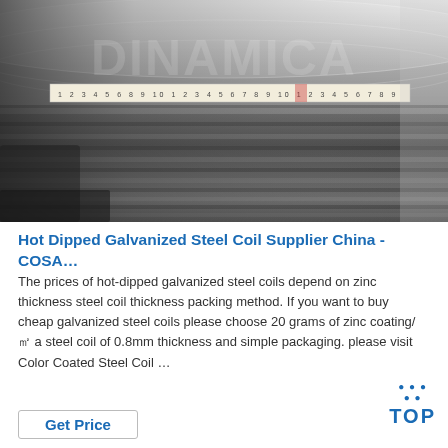[Figure (photo): Photo of hot-dipped galvanized steel coils being measured with a ruler/tape measure. Shiny metallic silver coiled steel sheets visible. Watermark text overlay present.]
Hot Dipped Galvanized Steel Coil Supplier China - COSA…
The prices of hot-dipped galvanized steel coils depend on zinc thickness steel coil thickness packing method. If you want to buy cheap galvanized steel coils please choose 20 grams of zinc coating/㎡ a steel coil of 0.8mm thickness and simple packaging. please visit Color Coated Steel Coil …
Get Price